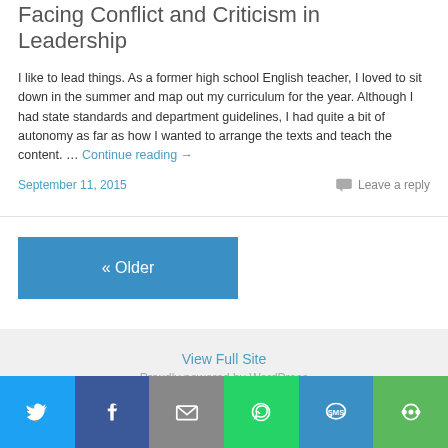Facing Conflict and Criticism in Leadership
I like to lead things. As a former high school English teacher, I loved to sit down in the summer and map out my curriculum for the year. Although I had state standards and department guidelines, I had quite a bit of autonomy as far as how I wanted to arrange the texts and teach the content. … Continue reading →
September 11, 2015
Leave a reply
« Older
View Full Site
Proudly powered by WordPress
[Figure (infographic): Social share bar with icons for Twitter, Facebook, Email, WhatsApp, SMS, and More]